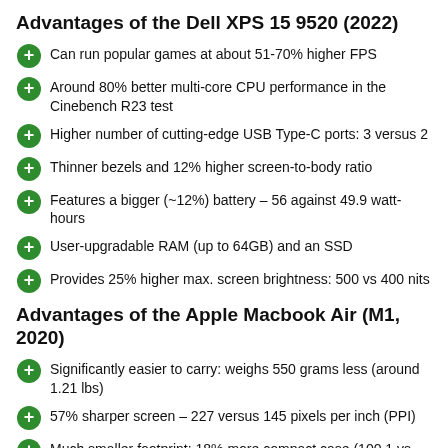Advantages of the Dell XPS 15 9520 (2022)
Can run popular games at about 51-70% higher FPS
Around 80% better multi-core CPU performance in the Cinebench R23 test
Higher number of cutting-edge USB Type-C ports: 3 versus 2
Thinner bezels and 12% higher screen-to-body ratio
Features a bigger (~12%) battery – 56 against 49.9 watt-hours
User-upgradable RAM (up to 64GB) and an SSD
Provides 25% higher max. screen brightness: 500 vs 400 nits
Advantages of the Apple Macbook Air (M1, 2020)
Significantly easier to carry: weighs 550 grams less (around 1.21 lbs)
57% sharper screen – 227 versus 145 pixels per inch (PPI)
Much smaller footprint: 18% more compact case (100.1 vs